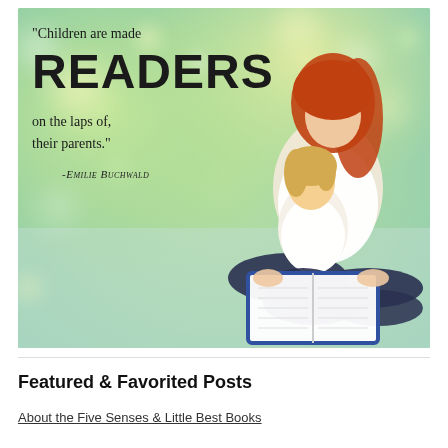[Figure (photo): Inspirational quote image with bokeh green/yellow background. A mother with red hair sits cross-legged reading a book with a young blonde child on her lap. Quote text reads: "Children are made READERS on the laps of their parents." -Emilie Buchwald]
Featured & Favorited Posts
About the Five Senses & Little Best Books